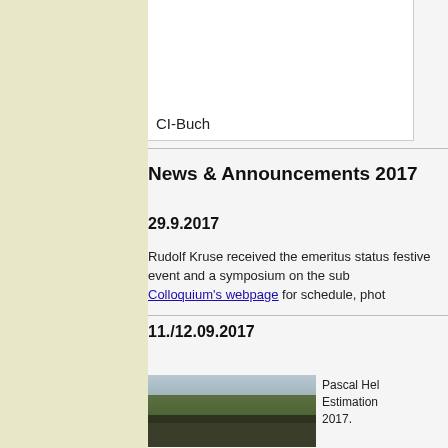[Figure (other): White box with label CI-Buch, likely a book cover placeholder]
CI-Buch
News & Announcements 2017
29.9.2017
Rudolf Kruse received the emeritus status festive event and a symposium on the subject. Colloquium's webpage for schedule, photos…
11./12.09.2017
[Figure (photo): Group photo of people outdoors in front of trees and buildings]
Pascal Hel… Estimation… 2017.